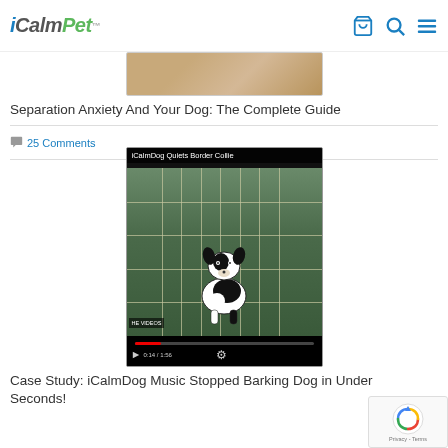iCalmPet
[Figure (photo): Thumbnail photo of a dog on a wooden floor - top portion visible only]
Separation Anxiety And Your Dog: The Complete Guide
25 Comments
[Figure (screenshot): Video player screenshot showing iCalmDog Quiets Border Collie video - a black and white Border Collie in a wire cage/pen on grass, with video controls showing 0:14 / 1:56]
Case Study: iCalmDog Music Stopped Barking Dog in Under Seconds!